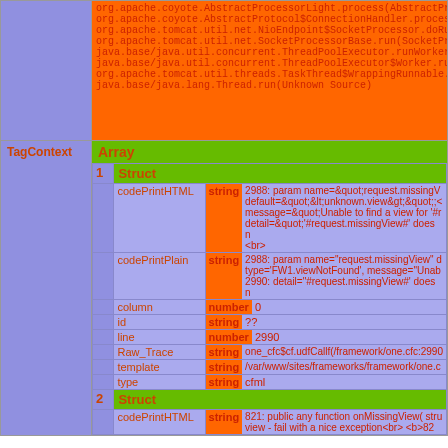|  | org.apache.coyote.AbstractProcessorLight.process(AbstractPro...
org.apache.coyote.AbstractProtocol$ConnectionHandler.process...
org.apache.tomcat.util.net.NioEndpoint$SocketProcessor.doRun...
org.apache.tomcat.util.net.SocketProcessorBase.run(SocketPro...
java.base/java.util.concurrent.ThreadPoolExecutor.runWorker(U...
java.base/java.util.concurrent.ThreadPoolExecutor$Worker.run(U...
org.apache.tomcat.util.threads.TaskThread$WrappingRunnable.r...
java.base/java.lang.Thread.run(Unknown Source) |
| TagContext | Array / Struct / fields... |